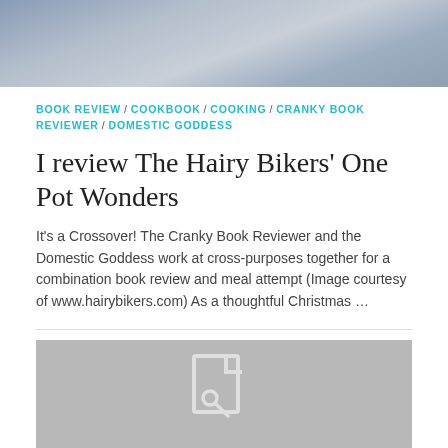[Figure (photo): Top portion of a photo showing two people, partially cropped, with a bowl of fruit visible in background]
BOOK REVIEW / COOKBOOK / COOKING / CRANKY BOOK REVIEWER / DOMESTIC GODDESS
I review The Hairy Bikers' One Pot Wonders
It's a Crossover! The Cranky Book Reviewer and the Domestic Goddess work at cross-purposes together for a combination book review and meal attempt (Image courtesy of www.hairybikers.com) As a thoughtful Christmas …
[Figure (photo): Gray placeholder image with a document/image icon in the center]